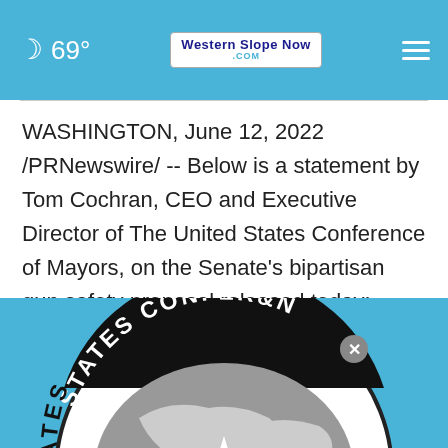69° Western Slope Now .com
WASHINGTON, June 12, 2022 /PRNewswire/ -- Below is a statement by Tom Cochran, CEO and Executive Director of The United States Conference of Mayors, on the Senate's bipartisan gun safety proposal released today:
[Figure (logo): United States Conference of Mayors circular seal/logo, black and gray, partially visible, showing text 'STATES CONFERENCE' along the arc with a star and world map graphic]